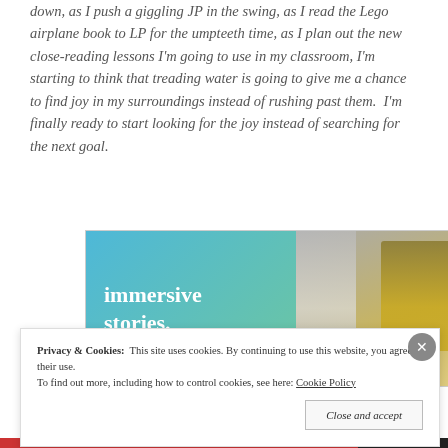down, as I push a giggling JP in the swing, as I read the Lego airplane book to LP for the umpteeth time, as I plan out the new close-reading lessons I'm going to use in my classroom, I'm starting to think that treading water is going to give me a chance to find joy in my surroundings instead of rushing past them. I'm finally ready to start looking for the joy instead of searching for the next goal.
[Figure (screenshot): Advertisement banner showing 'immersive stories.' text on a blue-green gradient background with a photo of a person in a yellow jacket near a waterfall on the right side.]
Privacy & Cookies: This site uses cookies. By continuing to use this website, you agree to their use.
To find out more, including how to control cookies, see here: Cookie Policy
Close and accept